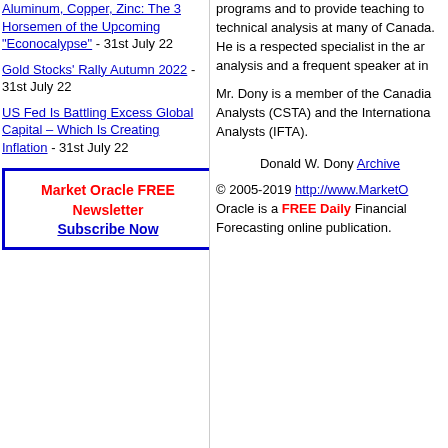Aluminum, Copper, Zinc: The 3 Horsemen of the Upcoming "Econocalypse" - 31st July 22
Gold Stocks' Rally Autumn 2022 - 31st July 22
US Fed Is Battling Excess Global Capital – Which Is Creating Inflation - 31st July 22
Market Oracle FREE Newsletter Subscribe Now
programs and to provide teaching to technical analysis at many of Canada. He is a respected specialist in the analysis and a frequent speaker at in
Mr. Dony is a member of the Canadian Analysts (CSTA) and the International Analysts (IFTA).
Donald W. Dony Archive
© 2005-2019 http://www.MarketO Oracle is a FREE Daily Financial Forecasting online publication.